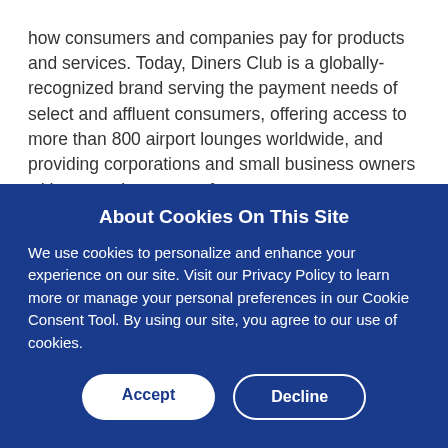how consumers and companies pay for products and services. Today, Diners Club is a globally-recognized brand serving the payment needs of select and affluent consumers, offering access to more than 800 airport lounges worldwide, and providing corporations and small business owners with a complete array of expense management solutions. With acceptance in more than 185 countries and territories, millions of merchant locations and access to more than 1 million cash access locations and ATMs, Diners Club, as a part of the Discover Global Network, is uniquely qualified to serve its cardmembers all
About Cookies On This Site
We use cookies to personalize and enhance your experience on our site. Visit our Privacy Policy to learn more or manage your personal preferences in our Cookie Consent Tool. By using our site, you agree to our use of cookies.